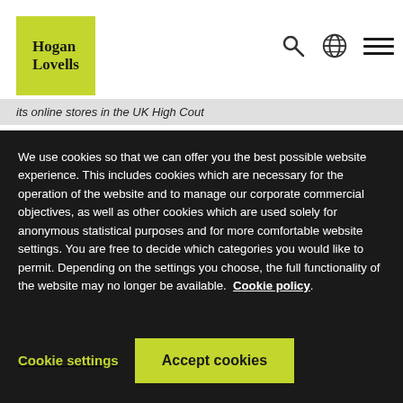[Figure (logo): Hogan Lovells logo — lime green square with 'Hogan Lovells' in bold serif text]
its online stores in the UK High Cout
We use cookies so that we can offer you the best possible website experience. This includes cookies which are necessary for the operation of the website and to manage our corporate commercial objectives, as well as other cookies which are used solely for anonymous statistical purposes and for more comfortable website settings. You are free to decide which categories you would like to permit. Depending on the settings you choose, the full functionality of the website may no longer be available. Cookie policy
Cookie settings
Accept cookies